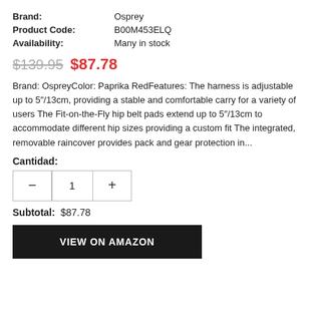| Brand: | Osprey |
| Product Code: | B00M453ELQ |
| Availability: | Many in stock |
$139.95  $87.78
Brand: OspreyColor: Paprika RedFeatures: The harness is adjustable up to 5"/13cm, providing a stable and comfortable carry for a variety of users The Fit-on-the-Fly hip belt pads extend up to 5"/13cm to accommodate different hip sizes providing a custom fit The integrated, removable raincover provides pack and gear protection in...
Cantidad:
— 1 +
Subtotal: $87.78
VIEW ON AMAZON